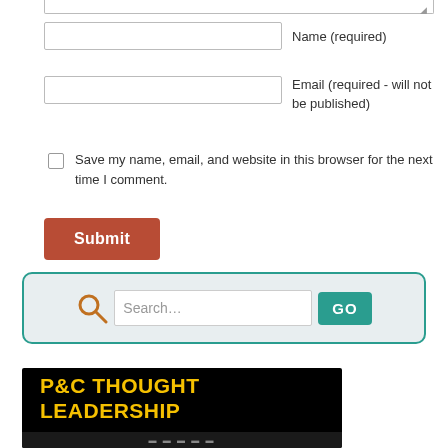Name (required)
Email (required - will not be published)
Save my name, email, and website in this browser for the next time I comment.
Submit
[Figure (screenshot): Search bar with magnifying glass icon, text input showing 'Search...', and a teal GO button, inside a rounded light-blue bordered box]
[Figure (illustration): Black banner with bold yellow text reading 'P&C THOUGHT LEADERSHIP']